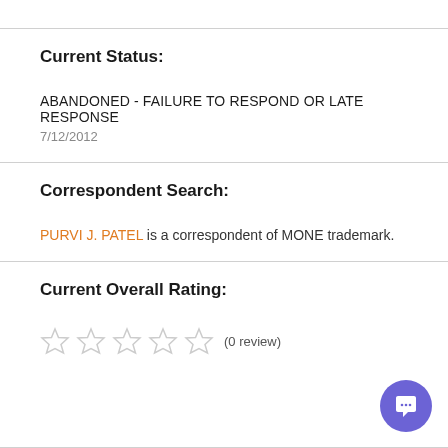Current Status:
ABANDONED - FAILURE TO RESPOND OR LATE RESPONSE
7/12/2012
Correspondent Search:
PURVI J. PATEL is a correspondent of MONE trademark.
Current Overall Rating:
(0 review)